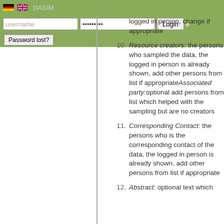DASIM
Resource creators: the persons who sampled the data, the logged in person is already shown, add other persons from list if appropriateAssociated party:optional add persons from list which helped with the sampling but are no creators
Corresponding Contact: the persons who is the corresponding contact of the data, the logged in person is already shown, add other persons from list if appropriate
Abstract: optional text which